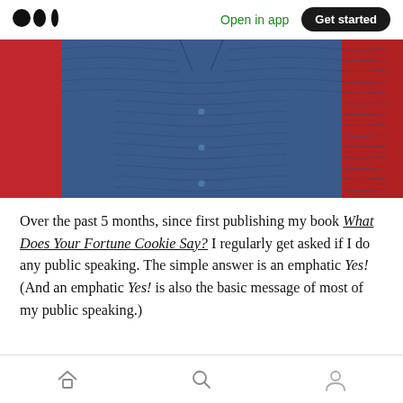Medium logo | Open in app | Get started
[Figure (photo): A person wearing a blue patterned shirt standing against a red background, headless/cropped at neck]
Over the past 5 months, since first publishing my book What Does Your Fortune Cookie Say? I regularly get asked if I do any public speaking. The simple answer is an emphatic Yes! (And an emphatic Yes! is also the basic message of most of my public speaking.)
Home | Search | Profile